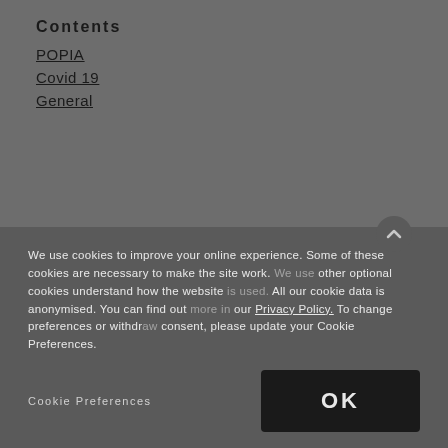Contents
POPIA
Covid 19
General
[Figure (other): Loading spinner circle graphic in center of page]
POPIA FAQ
We use cookies to improve your online experience. Some of these cookies are necessary to make the site work. We use other optional cookies understand how the website is used. All our cookie data is anonymised. You can find out more in our Privacy Policy. To change preferences or withdraw consent, please update your Cookie Preferences.
Cookie Preferences
OK